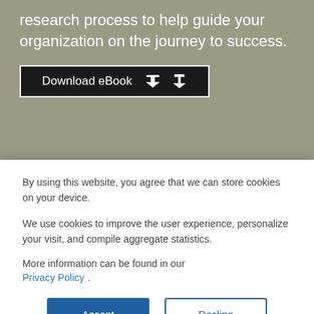research process to help guide your organization on the journey to success.
Download eBook
Other tasks
Printer format   Order by fax   Currency converter
By using this website, you agree that we can store cookies on your device.
We use cookies to improve the user experience, personalize your visit, and compile aggregate statistics.
More information can be found in our Privacy Policy .
Accept
Decline